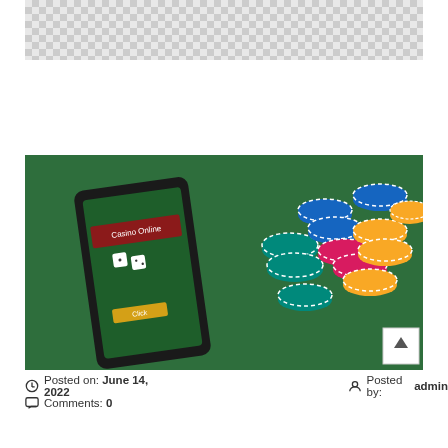[Figure (photo): Checkerboard transparent background image (top portion of a cropped image)]
[Figure (photo): Smartphone displaying 'Casino Online' app with poker chips scattered on green felt table background]
Posted on: June 14, 2022   Posted by: admin
Comments: 0